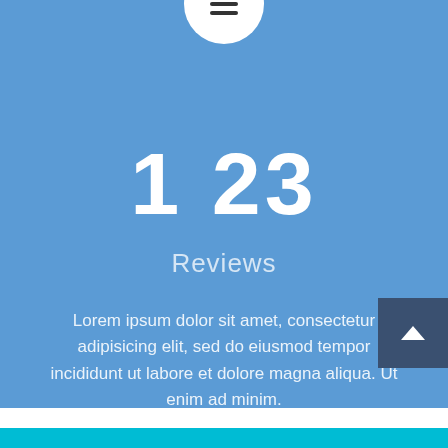[Figure (infographic): Circular white menu icon with three horizontal lines (hamburger menu), positioned at the top center of the blue section]
1 23
Reviews
Lorem ipsum dolor sit amet, consectetur adipisicing elit, sed do eiusmod tempor incididunt ut labore et dolore magna aliqua. Ut enim ad minim.
[Figure (other): Dark blue square button with a white chevron/arrow pointing up, positioned at bottom right corner]